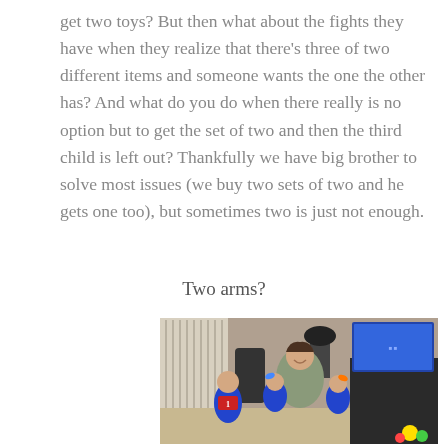get two toys? But then what about the fights they have when they realize that there’s three of two different items and someone wants the one the other has? And what do you do when there really is no option but to get the set of two and then the third child is left out? Thankfully we have big brother to solve most issues (we buy two sets of two and he gets one too), but sometimes two is just not enough.
Two arms?
[Figure (photo): A smiling woman holds one baby dressed in blue cheerleader outfit while another baby in blue cheerleader outfit with orange bow sits to her right; a toddler boy in a blue and red sports outfit stands to the left. They are in a home living room with a TV in the background.]